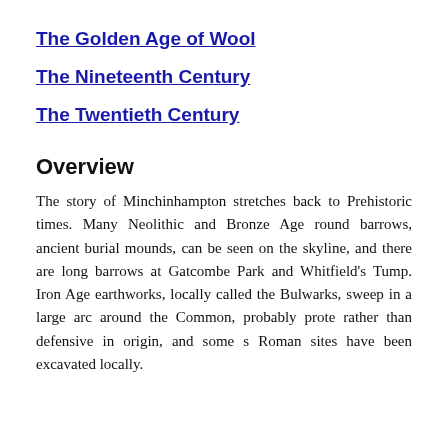The Golden Age of Wool
The Nineteenth Century
The Twentieth Century
Overview
The story of Minchinhampton stretches back to Prehistoric times. Many Neolithic and Bronze Age round barrows, ancient burial mounds, can be seen on the skyline, and there are long barrows at Gatcombe Park and Whitfield's Tump. Iron Age earthworks, locally called the Bulwarks, sweep in a large arc around the Common, probably prote rather than defensive in origin, and some s Roman sites have been excavated locally.